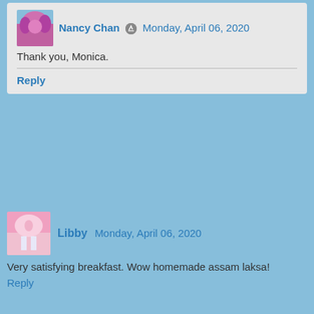Nancy Chan · Monday, April 06, 2020
Thank you, Monica.
Reply
Libby  Monday, April 06, 2020
Very satisfying breakfast. Wow homemade assam laksa!
Reply
▼ Replies
Nancy Chan · Monday, April 06, 2020
Thank you, Libby.
Reply
glamorous without the quilt  Monday, April 06, 2020